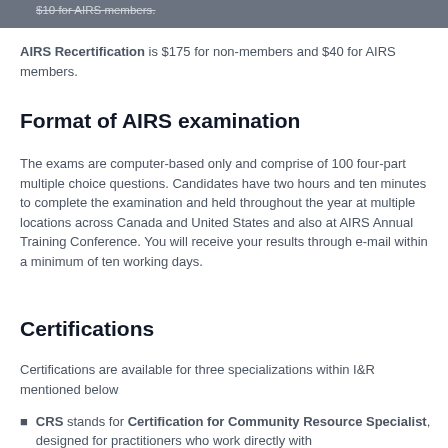$10 for AIRS members.
AIRS Recertification is $175 for non-members and $40 for AIRS members.
Format of AIRS examination
The exams are computer-based only and comprise of 100 four-part multiple choice questions. Candidates have two hours and ten minutes to complete the examination and held throughout the year at multiple locations across Canada and United States and also at AIRS Annual Training Conference. You will receive your results through e-mail within a minimum of ten working days.
Certifications
Certifications are available for three specializations within I&R mentioned below
CRS stands for Certification for Community Resource Specialist, designed for practitioners who work directly with